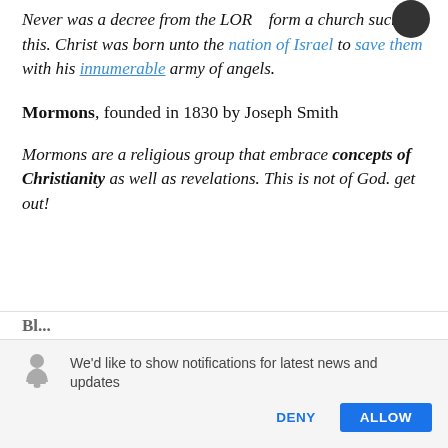Never was a decree from the LORD form a church such as this. Christ was born unto the nation of Israel to save them with his innumerable army of angels.
Mormons, founded in 1830 by Joseph Smith
Mormons are a religious group that embrace concepts of Christianity as well as revelations. This is not of God. get out!
[Figure (screenshot): Browser notification prompt: bell icon, text 'We'd like to show notifications for latest news and updates', with DENY and ALLOW buttons]